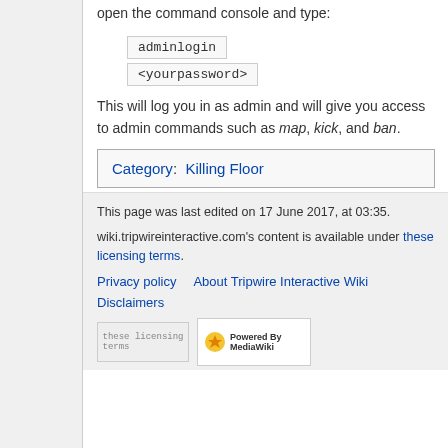open the command console and type:
This will log you in as admin and will give you access to admin commands such as map, kick, and ban.
Category:  Killing Floor
This page was last edited on 17 June 2017, at 03:35.
wiki.tripwireinteractive.com's content is available under these licensing terms.
Privacy policy   About Tripwire Interactive Wiki   Disclaimers